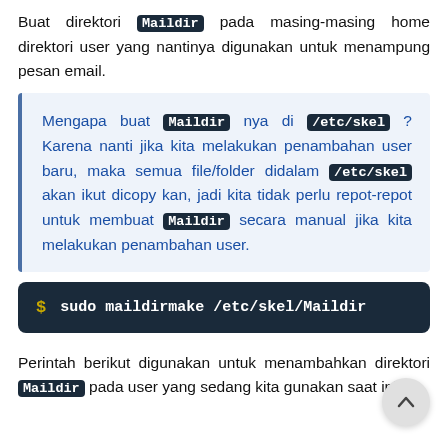Buat direktori Maildir pada masing-masing home direktori user yang nantinya digunakan untuk menampung pesan email.
Mengapa buat Maildir nya di /etc/skel ? Karena nanti jika kita melakukan penambahan user baru, maka semua file/folder didalam /etc/skel akan ikut dicopy kan, jadi kita tidak perlu repot-repot untuk membuat Maildir secara manual jika kita melakukan penambahan user.
$ sudo maildirmake /etc/skel/Maildir
Perintah berikut digunakan untuk menambahkan direktori Maildir pada user yang sedang kita gunakan saat ini.